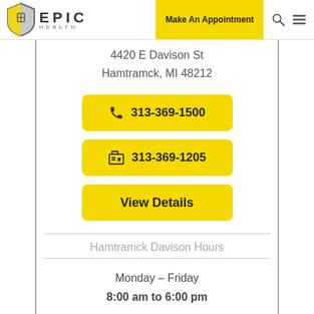EPIC HEALTH | Make An Appointment
4420 E Davison St
Hamtramck, MI 48212
📞 313-369-1500
🖨 313-369-1205
View Details
Hamtramck Davison Hours
Monday – Friday
8:00 am to 6:00 pm